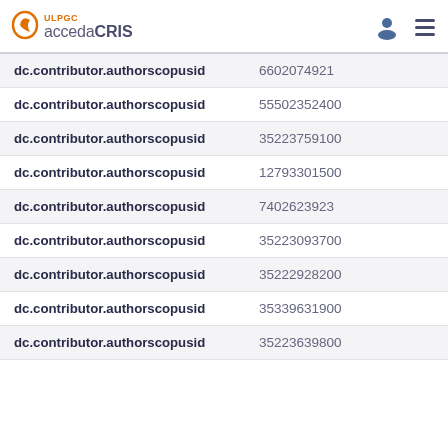ULPGC accedaCRIS
| Field | Value |
| --- | --- |
| dc.contributor.authorscopusid | 6602074921 |
| dc.contributor.authorscopusid | 55502352400 |
| dc.contributor.authorscopusid | 35223759100 |
| dc.contributor.authorscopusid | 12793301500 |
| dc.contributor.authorscopusid | 7402623923 |
| dc.contributor.authorscopusid | 35223093700 |
| dc.contributor.authorscopusid | 35222928200 |
| dc.contributor.authorscopusid | 35339631900 |
| dc.contributor.authorscopusid | 35223639800 |